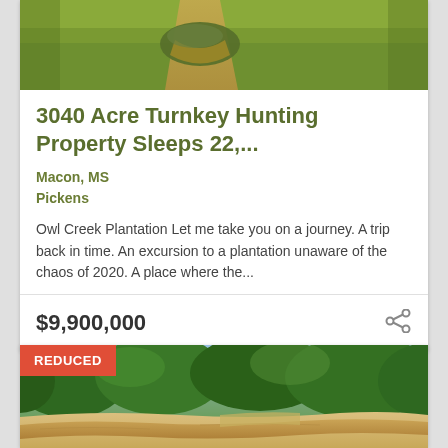[Figure (photo): Aerial view of a pond or water feature surrounded by green farmland/fields, viewed from above.]
3040 Acre Turnkey Hunting Property Sleeps 22,...
Macon, MS
Pickens
Owl Creek Plantation Let me take you on a journey. A trip back in time. An excursion to a plantation unaware of the chaos of 2020. A place where the...
$9,900,000
[Figure (photo): Outdoor nature scene with a creek or river with sandy banks, surrounded by dense green trees and vegetation under a partly cloudy blue sky. A red 'REDUCED' badge is overlaid in the top-left corner.]